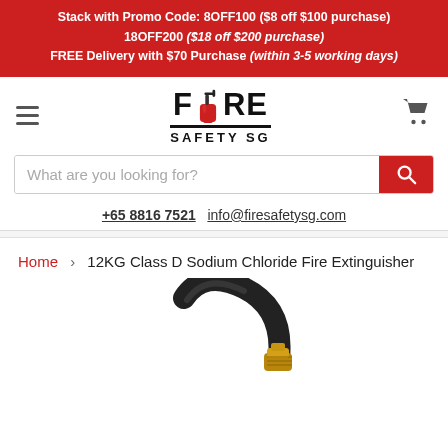Stack with Promo Code: 8OFF100 ($8 off $100 purchase) 18OFF200 ($18 off $200 purchase) FREE Delivery with $70 Purchase (within 3-5 working days)
[Figure (logo): Fire Safety SG logo with a red fire extinguisher icon replacing the letter O in FIRE, with SAFETY SG written below in black bold capitals, underlined.]
What are you looking for?
+65 8816 7521   info@firesafetysg.com
Home > 12KG Class D Sodium Chloride Fire Extinguisher
[Figure (photo): Partial product photo of a fire extinguisher hose/nozzle assembly, dark black hose with brass/gold fitting, partially visible at bottom of page.]